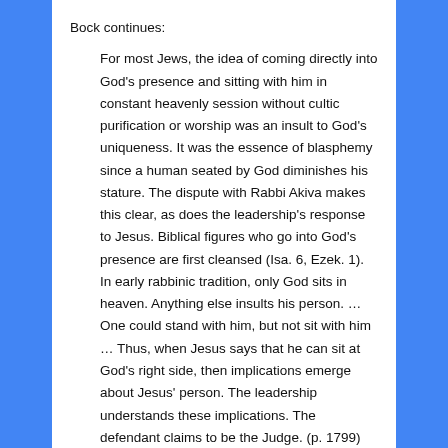Bock continues:
For most Jews, the idea of coming directly into God's presence and sitting with him in constant heavenly session without cultic purification or worship was an insult to God's uniqueness. It was the essence of blasphemy since a human seated by God diminishes his stature. The dispute with Rabbi Akiva makes this clear, as does the leadership's response to Jesus. Biblical figures who go into God's presence are first cleansed (Isa. 6, Ezek. 1). In early rabbinic tradition, only God sits in heaven. Anything else insults his person. … One could stand with him, but not sit with him … Thus, when Jesus says that he can sit at God's right side, then implications emerge about Jesus' person. The leadership understands these implications. The defendant claims to be the Judge. (p. 1799)
Then Bock states the irony: “With strong irony, the Jews think that Jesus is on trial, but what they do to him does